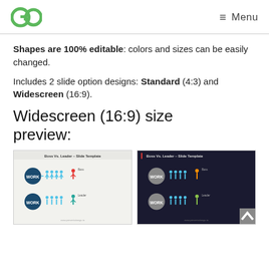GO  Menu
Shapes are 100% editable: colors and sizes can be easily changed.
Includes 2 slide option designs: Standard (4:3) and Widescreen (16:9).
Widescreen (16:9) size preview:
[Figure (screenshot): Two slide template previews showing Boss vs. Leader presentation slides — one light background and one dark background, both depicting figures labeled WORK with human chain silhouettes and a Boss figure in red/orange and a Leader figure in green/teal.]